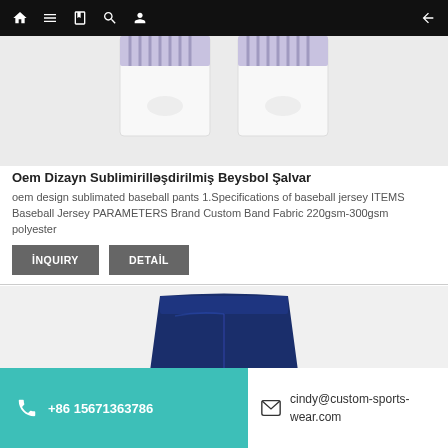Navigation bar with home, menu, book, search, user icons and back arrow
[Figure (photo): Top portion of white baseball pants with purple striped waistband, product photo on white/gray background]
Oem Dizayn Sublimirilləşdirilmiş Beysbol Şalvar
oem design sublimated baseball pants 1.Specifications of baseball jersey ITEMS Baseball Jersey PARAMETERS Brand Custom Band Fabric 220gsm-300gsm polyester
INQUIRy
DETAİL
[Figure (photo): Navy blue baseball shorts/pants product photo on light gray background]
+86 15671363786
cindy@custom-sports-wear.com